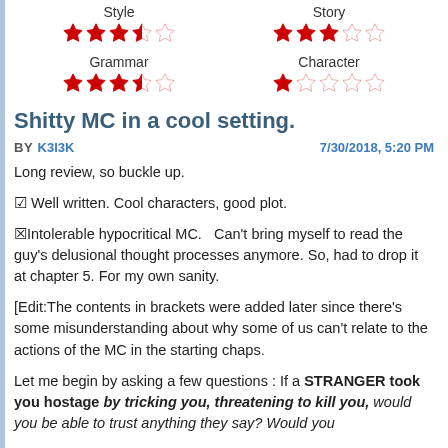[Figure (other): Star ratings for Style (3.5 stars) and Story (3 stars)]
[Figure (other): Star ratings for Grammar (3.5 stars) and Character (1 star)]
Shitty MC in a cool setting.
BY K3l3K   7/30/2018, 5:20 PM
Long review, so buckle up.
✓ Well written. Cool characters, good plot.
✗Intolerable hypocritical MC.   Can't bring myself to read the guy's delusional thought processes anymore. So, had to drop it at chapter 5. For my own sanity.
[Edit:The contents in brackets were added later since there's some misunderstanding about why some of us can't relate to the actions of the MC in the starting chaps.
Let me begin by asking a few questions : If a STRANGER took you hostage by tricking you, threatening to kill you, would you be able to trust anything they say? Would you